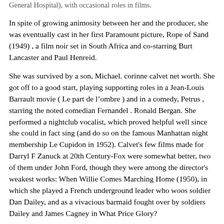General Hospital), with occasional roles in films.
In spite of growing animosity between her and the producer, she was eventually cast in her first Paramount picture, Rope of Sand (1949) , a film noir set in South Africa and co-starring Burt Lancaster and Paul Henreid.
She was survived by a son, Michael. corinne calvet net worth. She got off to a good start, playing supporting roles in a Jean-Louis Barrault movie ( Le part de l’ombre ) and in a comedy, Petrus , starring the noted comedian Fernandel . Ronald Bergan. She performed a nightclub vocalist, which proved helpful well since she could in fact sing (and do so on the famous Manhattan night membership Le Cupidon in 1952). Calvet's few films made for Darryl F Zanuck at 20th Century-Fox were somewhat better, two of them under John Ford, though they were among the director's weakest works: When Willie Comes Marching Home (1950), in which she played a French underground leader who woos soldier Dan Dailey, and as a vivacious barmaid fought over by soldiers Dailey and James Cagney in What Price Glory?
Melvin, is allergic to women's cosmetics and his doctor prescribed ocean travel, so he decided to join the navy.
Corinne Calvet. "Doing this film would ruin my chances of rising higher as a dramatic star." Corinne Calvet (April 30, 1925 â June